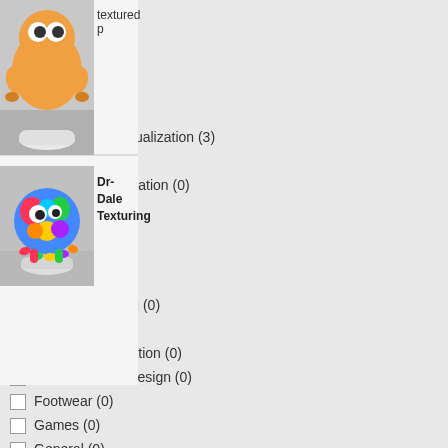FREE/TRIAL
Free (3)
Trial (0)
CATEGORY
Rendering & Visualization (3)
Aerospace (0)
Analysis & Simulation (0)
Animation (0)
Architecture (0)
BIM (0)
CAM (0)
Civil Engineering (0)
Dental (0)
Drafting & Ilustration (0)
Environmental Design (0)
Footwear (0)
Games (0)
General (0)
Import & Export (0)
Interface (0)
[Figure (photo): Partial view of an orange cartoon character 3D model on a white base, partially visible at top right]
textured p
[Figure (photo): Colorful psychedelic patterned spherical 3D character on a white base, rendered in Rendering & Visualization category]
Dr- Dale Texturing